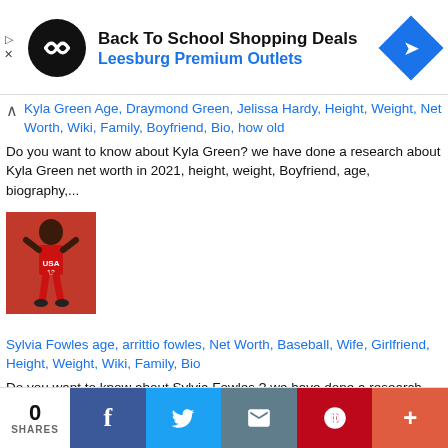[Figure (screenshot): Ad banner: Back To School Shopping Deals at Leesburg Premium Outlets with black circular logo and blue arrow icon]
Kyla Green Age, Draymond Green, Jelissa Hardy, Height, Weight, Net Worth, Wiki, Family, Boyfriend, Bio, how old
Do you want to know about Kyla Green? we have done a research about Kyla Green net worth in 2021, height, weight, Boyfriend, age, biography,...
[Figure (photo): Photo of Sylvia Fowles in a red USA basketball uniform with number 13, posed on a red background]
Sylvia Fowles age, arrittio fowles, Net Worth, Baseball, Wife, Girlfriend, Height, Weight, Wiki, Family, Bio
Do you want to know about Sylvia Fowles ? we have done a research about Sylvia Fowles net worth in 2021, height, Husband, Wife, weight, age,...
[Figure (photo): Partially visible thumbnail image at bottom of page]
0 SHARES | Facebook | Twitter | Email | Pinterest | More